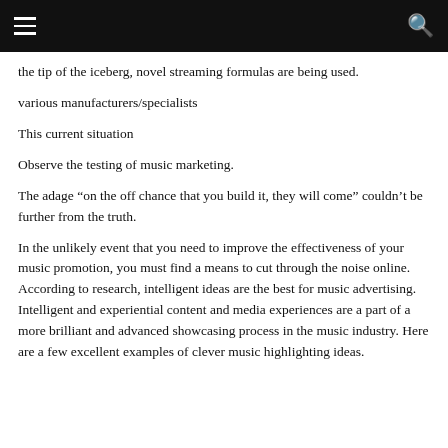the tip of the iceberg, novel streaming formulas are being used.
various manufacturers/specialists
This current situation
Observe the testing of music marketing.
The adage “on the off chance that you build it, they will come” couldn’t be further from the truth.
In the unlikely event that you need to improve the effectiveness of your music promotion, you must find a means to cut through the noise online. According to research, intelligent ideas are the best for music advertising. Intelligent and experiential content and media experiences are a part of a more brilliant and advanced showcasing process in the music industry. Here are a few excellent examples of clever music highlighting ideas.